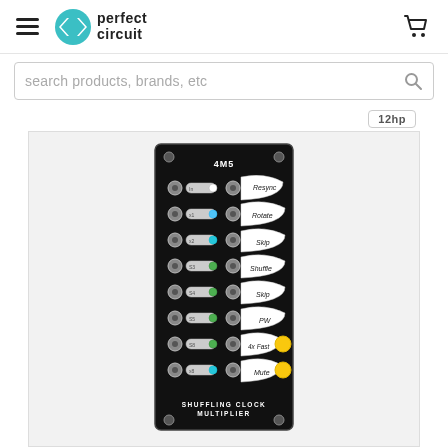perfect circuit
search products, brands, etc
12hp
[Figure (photo): Photo of the 4MS Shuffling Clock Multiplier Eurorack module. Black panel with multiple input/output jacks, toggle buttons with colored LEDs (blue, teal/green, yellow), and labeled controls: Resync, Rotate, Skip, Shuffle, Skip, PW, 4x Fast, Mute. Bottom text reads SHUFFLING CLOCK MULTIPLIER.]